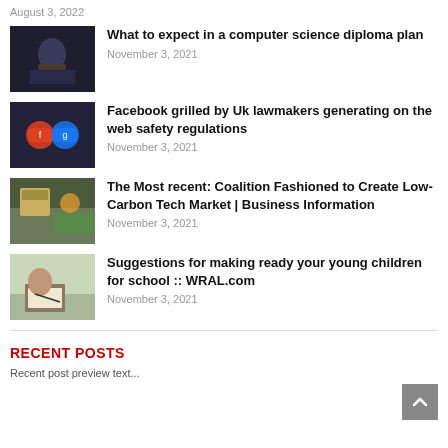August 3, 2022
[Figure (photo): Person at computer with dark background]
What to expect in a computer science diploma plan
November 3, 2021
[Figure (photo): Facebook app icons close-up]
Facebook grilled by Uk lawmakers generating on the web safety regulations
November 3, 2021
[Figure (photo): Protest signs and colorful clothing]
The Most recent: Coalition Fashioned to Create Low-Carbon Tech Market | Business Information
November 3, 2021
[Figure (photo): Child writing in notebook]
Suggestions for making ready your young children for school :: WRAL.com
November 3, 2021
RECENT POSTS
Recent post item partial text...